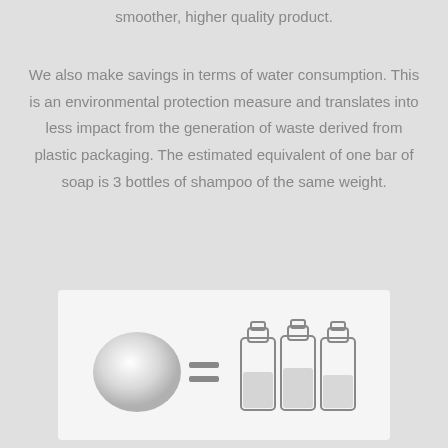smoother, higher quality product.
We also make savings in terms of water consumption. This is an environmental protection measure and translates into less impact from the generation of waste derived from plastic packaging. The estimated equivalent of one bar of soap is 3 bottles of shampoo of the same weight.
[Figure (illustration): A white bar of soap on the left, an equals sign in the middle, and three shampoo bottles on the right, illustrating that one bar of soap equals 3 bottles of shampoo.]